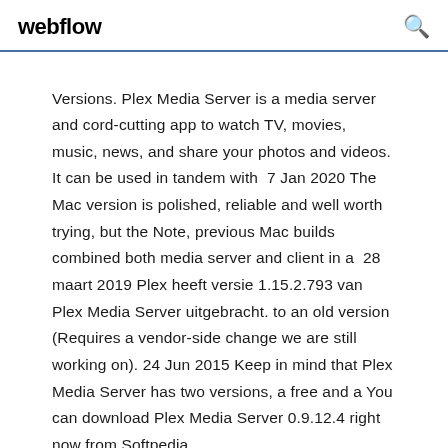webflow
Versions. Plex Media Server is a media server and cord-cutting app to watch TV, movies, music, news, and share your photos and videos. It can be used in tandem with 7 Jan 2020 The Mac version is polished, reliable and well worth trying, but the Note, previous Mac builds combined both media server and client in a 28 maart 2019 Plex heeft versie 1.15.2.793 van Plex Media Server uitgebracht. to an old version (Requires a vendor-side change we are still working on). 24 Jun 2015 Keep in mind that Plex Media Server has two versions, a free and a You can download Plex Media Server 0.9.12.4 right now from Softpedia.